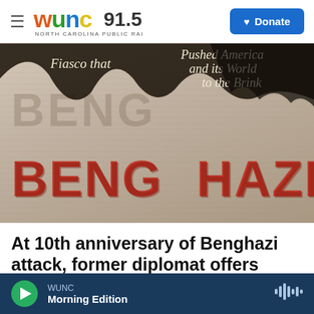WUNC 91.5 North Carolina Public Radio | Donate
[Figure (illustration): Book cover with burned newspaper texture showing 'BENGHAZI!' in large red letters, with subtitle text 'Fiasco that Pushed America and its World to the Brink']
At 10th anniversary of Benghazi attack, former diplomat offers context in new book
WUNC | Morning Edition